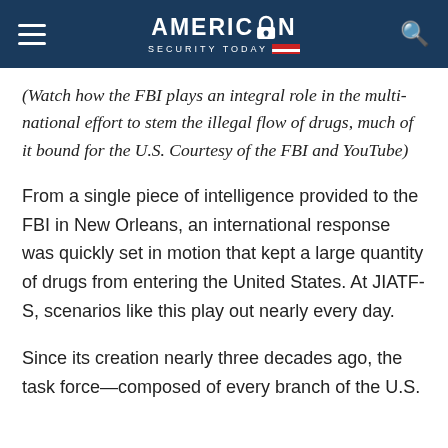AMERICAN SECURITY TODAY
(Watch how the FBI plays an integral role in the multi-national effort to stem the illegal flow of drugs, much of it bound for the U.S. Courtesy of the FBI and YouTube)
From a single piece of intelligence provided to the FBI in New Orleans, an international response was quickly set in motion that kept a large quantity of drugs from entering the United States. At JIATF-S, scenarios like this play out nearly every day.
Since its creation nearly three decades ago, the task force—composed of every branch of the U.S.